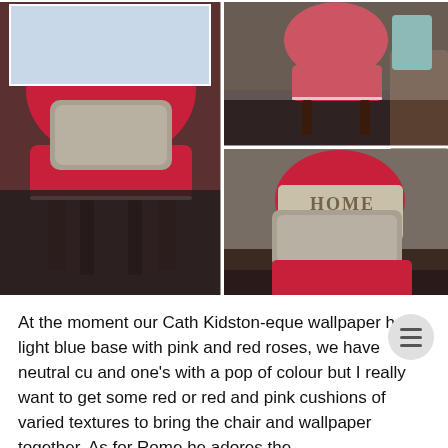[Figure (photo): Three photos of a red upholstered chair with a grey fuzzy cushion. Left: large photo of the red chair with grey pillow in a room. Top right: red chair without cushion viewed from front. Bottom right: red chair with a 'HOME' pillow and grey fuzzy cushion.]
At the moment our Cath Kidston-eque wallpaper has a light blue base with pink and red roses, we have neutral cu and one's with a pop of colour but I really want to get some red or red and pink cushions of varied textures to bring the chair and wallpaper together. As for Rome he adores the